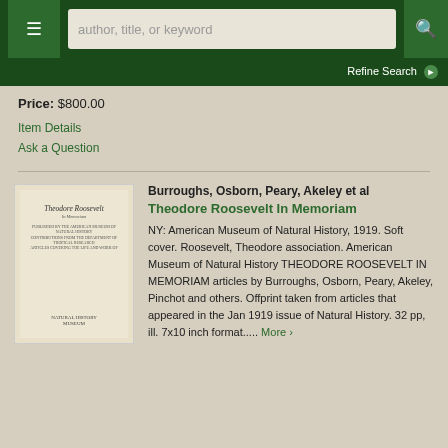author, title, or keyword
Refine Search
Price: $800.00
Item Details
Ask a Question
[Figure (photo): Book cover of Theodore Roosevelt In Memoriam showing title page]
Burroughs, Osborn, Peary, Akeley et al
Theodore Roosevelt In Memoriam
NY: American Museum of Natural History, 1919. Soft cover. Roosevelt, Theodore association. American Museum of Natural History THEODORE ROOSEVELT IN MEMORIAM articles by Burroughs, Osborn, Peary, Akeley, Pinchot and others. Offprint taken from articles that appeared in the Jan 1919 issue of Natural History. 32 pp, ill. 7x10 inch format..... More ›